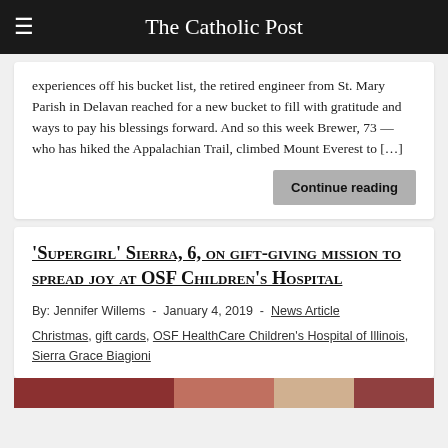The Catholic Post
experiences off his bucket list, the retired engineer from St. Mary Parish in Delavan reached for a new bucket to fill with gratitude and ways to pay his blessings forward. And so this week Brewer, 73 — who has hiked the Appalachian Trail, climbed Mount Everest to […]
Continue reading
'Supergirl' Sierra, 6, on gift-giving mission to spread joy at OSF Children's Hospital
By: Jennifer Willems - January 4, 2019 - News Article Christmas, gift cards, OSF HealthCare Children's Hospital of Illinois, Sierra Grace Biagioni
[Figure (photo): Partial image strip at bottom of page showing a photo related to the article]